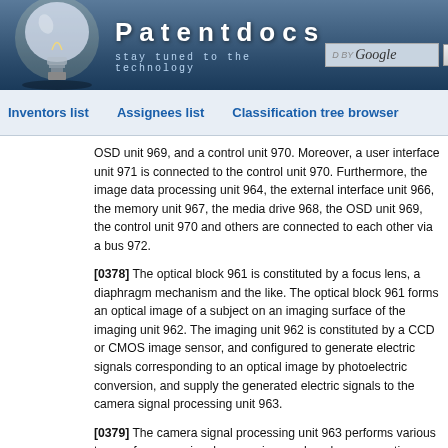Patentdocs — stay tuned to the technology
Inventors list | Assignees list | Classification tree browser
OSD unit 969, and a control unit 970. Moreover, a user interface unit 971 is connected to the control unit 970. Furthermore, the image data processing unit 964, the external interface unit 966, the memory unit 967, the media drive 968, the OSD unit 969, the control unit 970 and others are connected to each other via a bus 972.
[0378] The optical block 961 is constituted by a focus lens, a diaphragm mechanism and the like. The optical block 961 forms an optical image of a subject on an imaging surface of the imaging unit 962. The imaging unit 962 is constituted by a CCD or CMOS image sensor, and configured to generate electric signals corresponding to an optical image by photoelectric conversion, and supply the generated electric signals to the camera signal processing unit 963.
[0379] The camera signal processing unit 963 performs various types of camera signal processing, such as knee correction, gamma